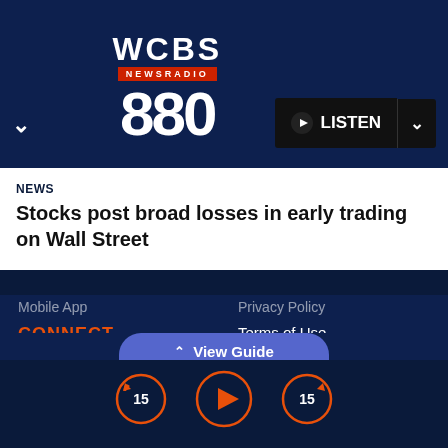[Figure (logo): WCBS Newsradio 880 logo with red NEWSRADIO banner and large 880 numeral]
LISTEN
NEWS
Stocks post broad losses in early trading on Wall Street
Mobile App
CONNECT
FAQ
1Thing
Get My PERKS
#ImListening
Privacy Policy
Terms of Use
Copyright Notice
Music Submission Policy
Do Not Sell My Personal Information
Public Help File
View Guide